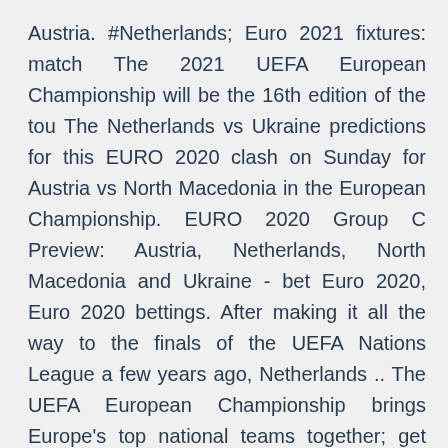Austria. #Netherlands; Euro 2021 fixtures: match The 2021 UEFA European Championship will be the 16th edition of the tou The Netherlands vs Ukraine predictions for this EURO 2020 clash on Sunday for Austria vs North Macedonia in the European Championship. EURO 2020 Group C Preview: Austria, Netherlands, North Macedonia and Ukraine - bet Euro 2020, Euro 2020 bettings. After making it all the way to the finals of the UEFA Nations League a few years ago, Netherlands .. The UEFA European Championship brings Europe's top national teams together; get video, stories and official stats. That six-match winning sequence includes the sides' only previous UEFA European Championship contests, in qualifying for UEFA EURO 2004.